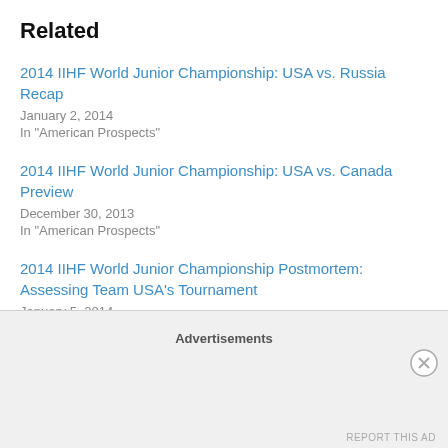Related
2014 IIHF World Junior Championship: USA vs. Russia Recap
January 2, 2014
In "American Prospects"
2014 IIHF World Junior Championship: USA vs. Canada Preview
December 30, 2013
In "American Prospects"
2014 IIHF World Junior Championship Postmortem: Assessing Team USA's Tournament
January 5, 2014
In "American Prospects"
January 1, 2014
Advertisements